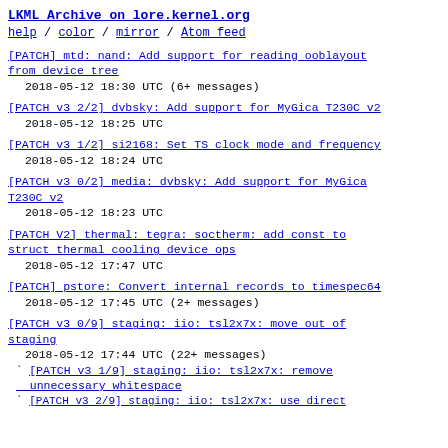LKML Archive on lore.kernel.org
help / color / mirror / Atom feed
[PATCH] mtd: nand: Add support for reading ooblayout from device tree
2018-05-12 18:30 UTC  (6+ messages)
[PATCH v3 2/2] dvbsky: Add support for MyGica T230C v2
2018-05-12 18:25 UTC
[PATCH v3 1/2] si2168: Set TS clock mode and frequency
2018-05-12 18:24 UTC
[PATCH v3 0/2] media: dvbsky: Add support for MyGica T230C v2
2018-05-12 18:23 UTC
[PATCH V2] thermal: tegra: soctherm: add const to struct thermal cooling device ops
2018-05-12 17:47 UTC
[PATCH] pstore: Convert internal records to timespec64
2018-05-12 17:45 UTC  (2+ messages)
[PATCH v3 0/9] staging: iio: tsl2x7x: move out of staging
2018-05-12 17:44 UTC  (22+ messages)
[PATCH v3 1/9] staging: iio: tsl2x7x: remove unnecessary whitespace
[PATCH v3 2/9] staging: iio: tsl2x7x: use direct